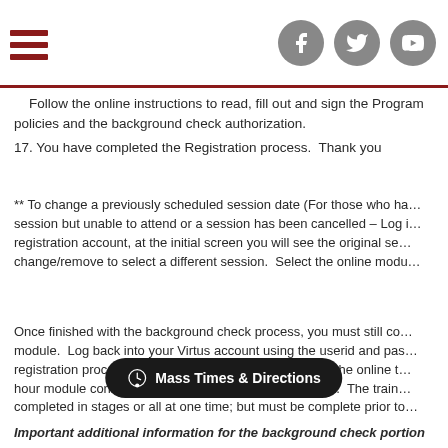Navigation header with hamburger menu and social icons (Facebook, Twitter, YouTube)
Follow the online instructions to read, fill out and sign the Program policies and the background check authorization.
17. You have completed the Registration process.  Thank you
** To change a previously scheduled session date (For those who have registered for a session but unable to attend or a session has been cancelled – Log into your registration account, at the initial screen you will see the original session, click change/remove to select a different session.  Select the online modu
Once finished with the background check process, you must still complete the online module.  Log back into your Virtus account using the userid and password from the registration process, go to your training tab to complete the online training.  It is an hour module consisting of multiple videos and questions.  The training can be completed in stages or all at one time; but must be complete prior to
Important additional information for the background check portion